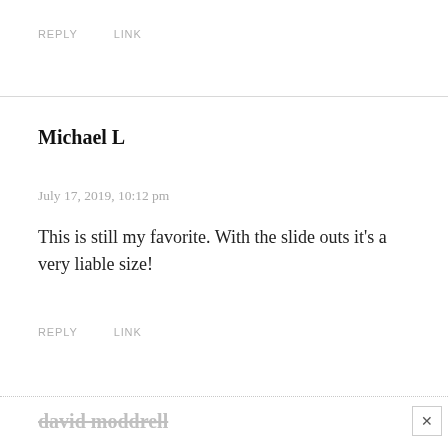REPLY    LINK
Michael L
July 17, 2019, 10:12 pm
This is still my favorite. With the slide outs it’s a very liable size!
REPLY    LINK
david moddrell